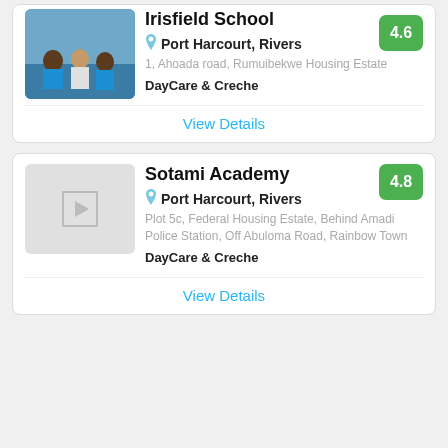[Figure (photo): Photo of children in blue school uniforms sitting on the floor]
Irisfield School
4.6
Port Harcourt, Rivers
1, Ahoada road, Rumuibekwe Housing Estate
DayCare & Creche
View Details
[Figure (photo): Placeholder image with play button icon for Sotami Academy]
Sotami Academy
4.8
Port Harcourt, Rivers
Plot 5c, Federal Housing Estate, Behind Amadi Police Station, Off Abuloma Road, Rainbow Town
DayCare & Creche
View Details